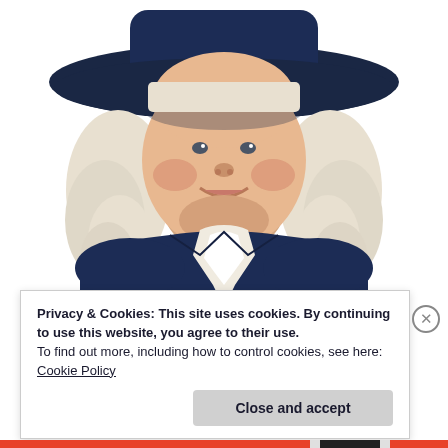[Figure (illustration): Quaker Oats man mascot illustration: a smiling colonial-era man with white curly hair, wearing a dark navy blue coat with a white cravat/jabot, and a dark navy wide-brimmed hat. The figure is cropped at the shoulders/chest area showing the upper body and face prominently against a white background.]
Privacy & Cookies: This site uses cookies. By continuing to use this website, you agree to their use.
To find out more, including how to control cookies, see here: Cookie Policy
Close and accept